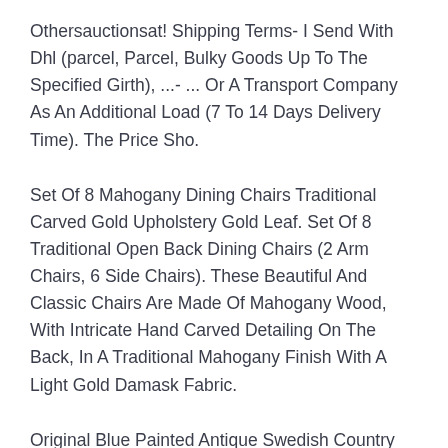Othersauctionsat! Shipping Terms- I Send With Dhl (parcel, Parcel, Bulky Goods Up To The Specified Girth), ...- ... Or A Transport Company As An Additional Load (7 To 14 Days Delivery Time). The Price Sho.
Set Of 8 Mahogany Dining Chairs Traditional Carved Gold Upholstery Gold Leaf. Set Of 8 Traditional Open Back Dining Chairs (2 Arm Chairs, 6 Side Chairs). These Beautiful And Classic Chairs Are Made Of Mahogany Wood, With Intricate Hand Carved Detailing On The Back, In A Traditional Mahogany Finish With A Light Gold Damask Fabric.
Original Blue Painted Antique Swedish Country Drop